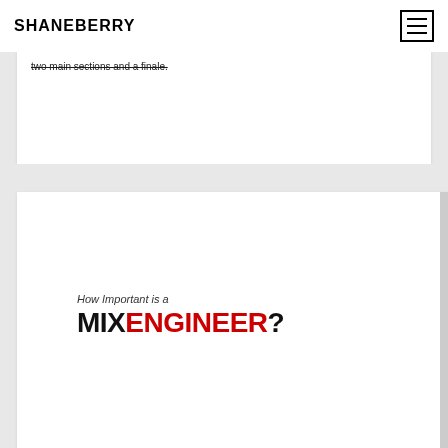SHANEBERRY
two main sections and a finale.
[Figure (screenshot): Blog post thumbnail showing text: 'How Important is a MIXENGINEER?' with MIX in black and ENGINEER in red.]